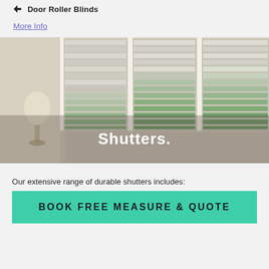Door Roller Blinds
More Info
[Figure (photo): Interior room photo showing white plantation shutters on large windows with natural light coming through, and a lamp visible on the left side. White text overlay reads 'Shutters.']
Our extensive range of durable shutters includes:
BOOK FREE MEASURE & QUOTE